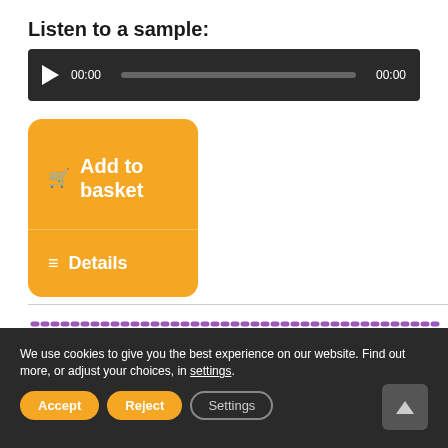Listen to a sample:
[Figure (other): Audio player widget with play button, progress bar, and timestamps showing 00:00 on both sides]
[Figure (other): Two orange buttons: 'Add to basket' (with cart icon) and 'Details' (with list icon)]
[Figure (other): Dotted purple horizontal line separator]
We use cookies to give you the best experience on our website. Find out more, or adjust your choices, in settings.
[Figure (other): Cookie consent buttons: Accept (orange), Reject (orange), Settings (outline)]